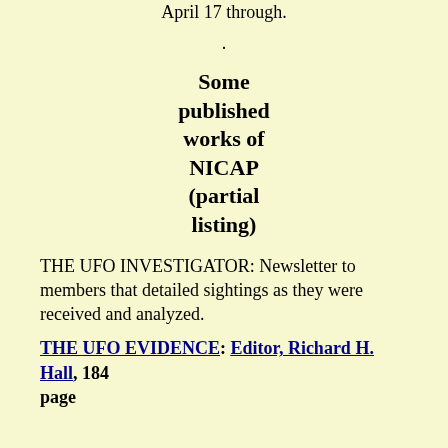April 17 through.
.
Some published works of NICAP (partial listing)
THE UFO INVESTIGATOR: Newsletter to members that detailed sightings as they were received and analyzed.
THE UFO EVIDENCE: Editor, Richard H. Hall, 184 page